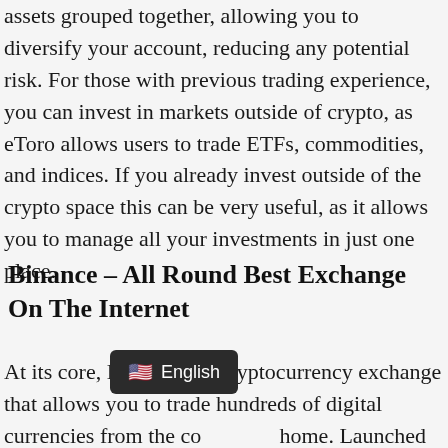assets grouped together, allowing you to diversify your account, reducing any potential risk. For those with previous trading experience, you can invest in markets outside of crypto, as eToro allows users to trade ETFs, commodities, and indices. If you already invest outside of the crypto space this can be very useful, as it allows you to manage all your investments in just one place.
Binance – All Round Best Exchange On The Internet
At its core, Binance is a cryptocurrency exchange that allows you to trade hundreds of digital currencies from the co[obscured]home. Launched in 2017 – the platform also o[obscured]te services – meaning you can buy